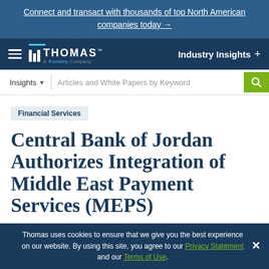Connect and transact with thousands of top North American companies today →
[Figure (logo): Thomas — A Xometry Company logo with navigation bar including hamburger menu and Industry Insights link]
[Figure (screenshot): Search bar with Insights dropdown and Articles and White Papers by Keyword input field with green search button]
Financial Services
Central Bank of Jordan Authorizes Integration of Middle East Payment Services (MEPS)
Thomas uses cookies to ensure that we give you the best experience on our website. By using this site, you agree to our Privacy Statement and our Terms of Use.